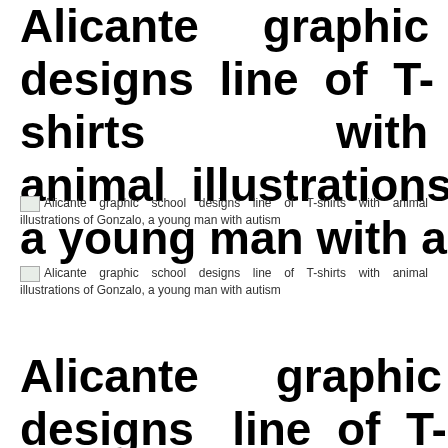Alicante graphic school designs line of T-shirts with animal illustrations of Gonzalo, a young man with autism
[Figure (photo): Broken image placeholder with alt text: Alicante graphic school designs line of T-shirts with animal illustrations of Gonzalo, a young man with autism]
[Figure (photo): Broken image placeholder with alt text: Alicante graphic school designs line of T-shirts with animal illustrations of Gonzalo, a young man with autism]
Alicante graphic school designs line of T-shirts with animal illustrations of Gonza lo